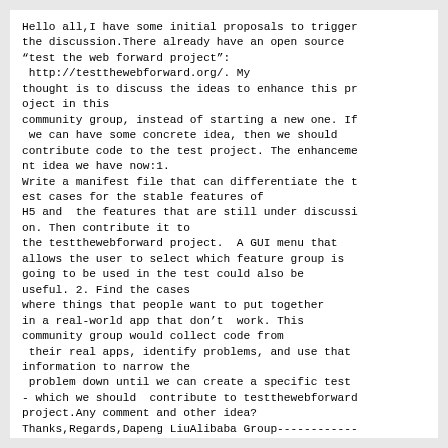Hello all,I have some initial proposals to trigger the discussion.There already have an open source "test the web forward project":
 http://testthewebforward.org/. My thought is to discuss the ideas to enhance this project in this
community group, instead of starting a new one. If we can have some concrete idea, then we should contribute code to the test project. The enhancement idea we have now:1.
Write a manifest file that can differentiate the test cases for the stable features of
H5 and  the features that are still under discussion. Then contribute it to
the testthewebforward project.  A GUI menu that allows the user to select which feature group is going to be used in the test could also be useful. 2. Find the cases
where things that people want to put together in a real-world app that don't  work. This community group would collect code from
 their real apps, identify problems, and use that information to narrow the
 problem down until we can create a specific test - which we should  contribute to testthewebforward project.Any comment and other idea?
Thanks,Regards,Dapeng LiuAlibaba Group------------
----------------------------------------------------